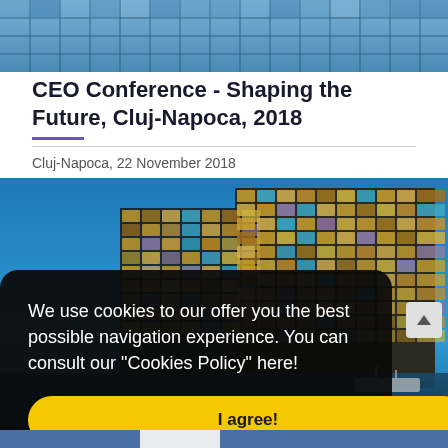[Figure (photo): Top photo of a modern glass building facade with geometric pattern, blue-tinted]
CEO Conference - Shaping the Future, Cluj-Napoca, 2018
Cluj-Napoca, 22 November 2018
[Figure (photo): Photo of a modern colorful glass-facade building (Harpa concert hall style) against a blue sky, with reflections in water at the bottom]
We use cookies to our offer you the best possible navigation experience. You can consult our “Cookies Policy” here!
I agree!